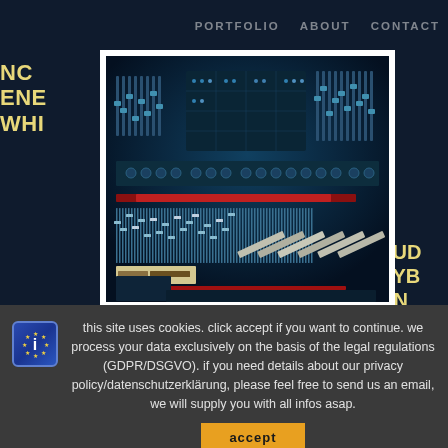PORTFOLIO   ABOUT   CONTACT
[Figure (photo): Close-up photograph of an audio mixing console / synthesizer with faders, buttons, and controls on a dark teal background, displayed inside a white photo frame border]
this site uses cookies. click accept if you want to continue. we process your data exclusively on the basis of the legal regulations (GDPR/DSGVO). if you need details about our privacy policy/datenschutzerklärung, please feel free to send us an email, we will supply you with all infos asap.
accept